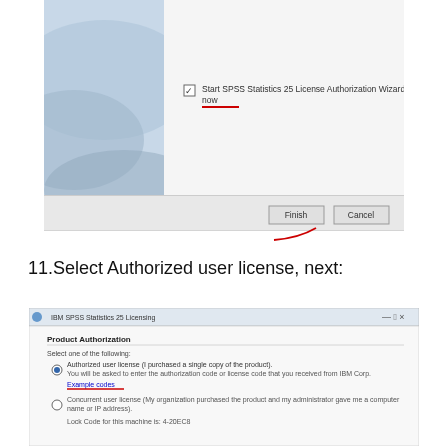[Figure (screenshot): Windows installer dialog showing 'Start SPSS Statistics 25 License Authorization Wizard now' checkbox checked, with Finish and Cancel buttons. A red underline annotation marks the 'now' text and another red arrow points to the Finish button.]
11.Select Authorized user license, next:
[Figure (screenshot): IBM SPSS Statistics 25 Licensing dialog showing Product Authorization screen. 'Authorized user license (I purchased a single copy of the product)' radio button is selected. Text reads: You will be asked to enter the authorization code or license code that you received from IBM Corp. A red underline marks 'Example codes'. Second option: Concurrent user license (My organization purchased the product and my administrator gave me a computer name or IP address). Lock Code for this machine is: 4-20EC8.]